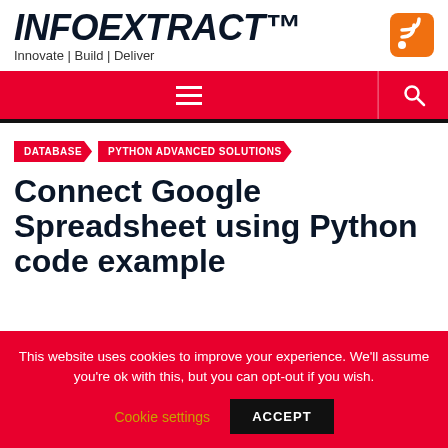INFOEXTRACT™ — Innovate | Build | Deliver
[Figure (logo): RSS feed icon — orange rounded square with white wifi/RSS signal lines]
DATABASE  PYTHON ADVANCED SOLUTIONS
Connect Google Spreadsheet using Python code example
This website uses cookies to improve your experience. We'll assume you're ok with this, but you can opt-out if you wish.
Cookie settings  ACCEPT